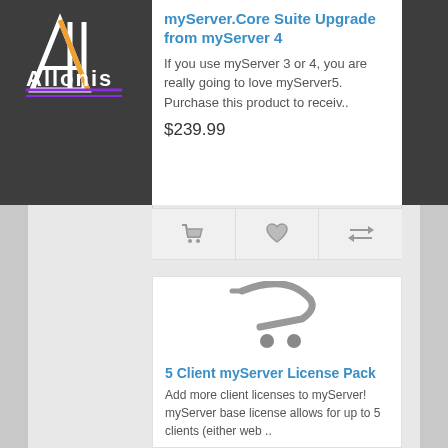[Figure (logo): Allonis logo — stylized letter A with vertical bars and purple underline on dark background]
myServer.Core Suite Upgrade from myServer 4
If you use myServer 3 or 4, you are really going to love myServer5. Purchase this product to receiv..
$239.99
[Figure (illustration): Shopping cart icon (gray outline)]
[Figure (illustration): Heart/wishlist icon (gray outline)]
[Figure (illustration): Compare icon — two horizontal arrows (gray)]
[Figure (illustration): Large gray shopping cart icon on white background]
5 Client myServer License Pack
Add more client licenses to myServer! myServer base license allows for up to 5 clients (either web ..
$59.99